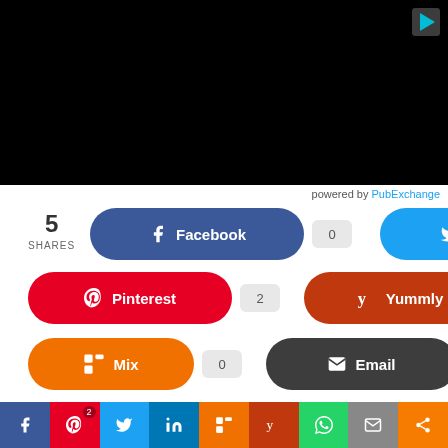[Figure (screenshot): Black video/media area at top of page]
powered by PubExchange
5 SHARES
[Figure (infographic): Social sharing buttons: Facebook (0), Twitter (3), Pinterest (2), Yummly (0), Mix (0), Email (0)]
Spread the love
[Figure (infographic): Bottom social sharing bar with icons for Facebook, Pinterest, Twitter, LinkedIn, Mix, Yummly, WhatsApp, Email, Share]